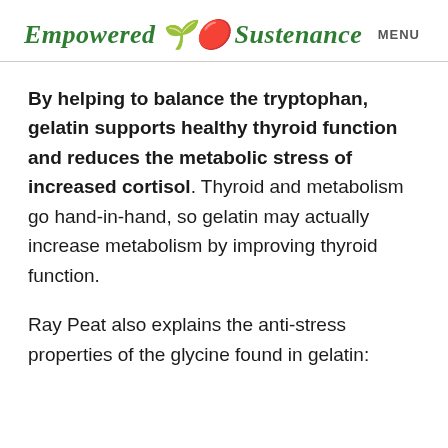Empowered Sustenance   MENU
By helping to balance the tryptophan, gelatin supports healthy thyroid function and reduces the metabolic stress of increased cortisol. Thyroid and metabolism go hand-in-hand, so gelatin may actually increase metabolism by improving thyroid function.
Ray Peat also explains the anti-stress properties of the glycine found in gelatin: